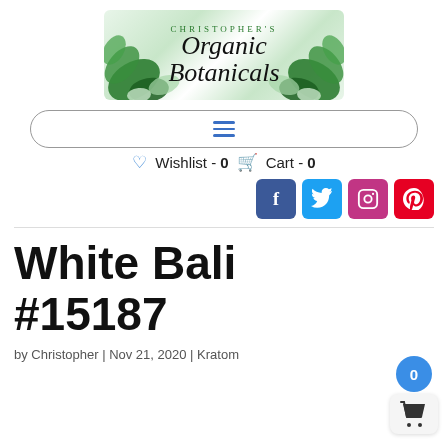[Figure (logo): Christopher's Organic Botanicals logo with green leaf decorations and script text]
[Figure (infographic): Navigation bar with hamburger menu icon (three horizontal blue lines) inside a rounded rectangle border]
Wishlist - 0  Cart - 0
[Figure (infographic): Social media icon buttons: Facebook (blue), Twitter (light blue), Instagram (pink/red), Pinterest (red)]
White Bali #15187
by Christopher | Nov 21, 2020 | Kratom
Phenomena Kratom Testing